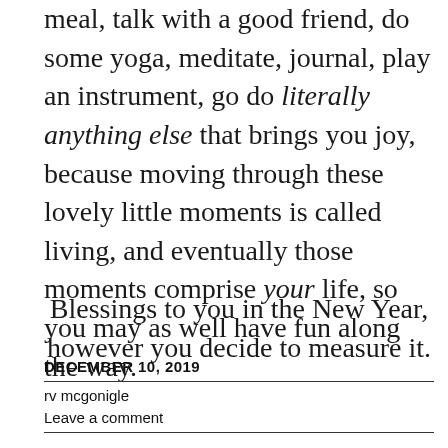meal, talk with a good friend, do some yoga, meditate, journal, play an instrument, go do literally anything else that brings you joy, because moving through these lovely little moments is called living, and eventually those moments comprise your life, so you may as well have fun along the way.
Blessings to you in the New Year, however you decide to measure it.
DECEMBER 10, 2019
rv mcgonigle
Leave a comment